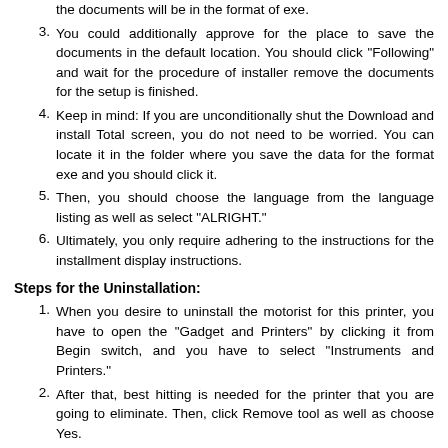the documents will be in the format of exe.
You could additionally approve for the place to save the documents in the default location. You should click "Following" and wait for the procedure of installer remove the documents for the setup is finished.
Keep in mind: If you are unconditionally shut the Download and install Total screen, you do not need to be worried. You can locate it in the folder where you save the data for the format exe and you should click it.
Then, you should choose the language from the language listing as well as select "ALRIGHT."
Ultimately, you only require adhering to the instructions for the installment display instructions.
Steps for the Uninstallation:
When you desire to uninstall the motorist for this printer, you have to open the "Gadget and Printers" by clicking it from Begin switch, and you have to select "Instruments and Printers."
After that, best hitting is needed for the printer that you are going to eliminate. Then, click Remove tool as well as choose Yes.
When you could not get rid of the printer, you can aim to best